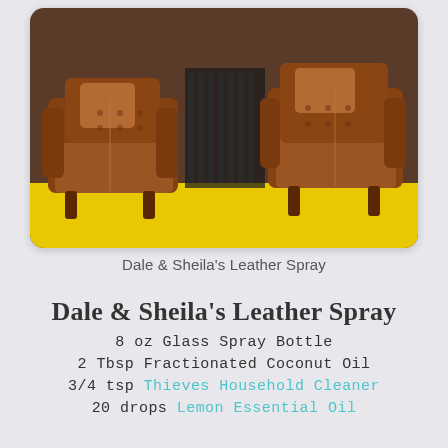[Figure (photo): Two vintage brown leather chesterfield armchairs on a yellow floor against a dark radiator background]
Dale & Sheila's Leather Spray
Dale & Sheila's Leather Spray
8 oz Glass Spray Bottle
2 Tbsp Fractionated Coconut Oil
3/4 tsp Thieves Household Cleaner
20 drops Lemon Essential Oil